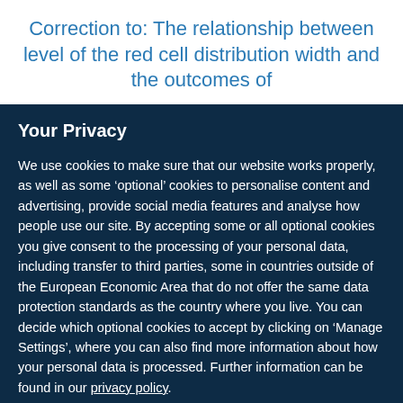Correction to: The relationship between level of the red cell distribution width and the outcomes of
Your Privacy
We use cookies to make sure that our website works properly, as well as some ‘optional’ cookies to personalise content and advertising, provide social media features and analyse how people use our site. By accepting some or all optional cookies you give consent to the processing of your personal data, including transfer to third parties, some in countries outside of the European Economic Area that do not offer the same data protection standards as the country where you live. You can decide which optional cookies to accept by clicking on ‘Manage Settings’, where you can also find more information about how your personal data is processed. Further information can be found in our privacy policy.
Accept all cookies
Manage preferences